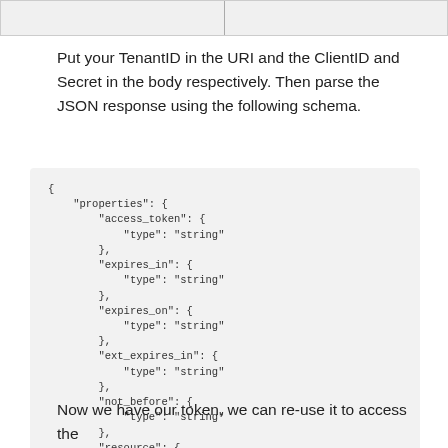[Figure (screenshot): Top strip showing a partial UI screenshot with a vertical divider line in the center]
Put your TenantID in the URI and the ClientID and Secret in the body respectively. Then parse the JSON response using the following schema.
{
    "properties": {
        "access_token": {
            "type": "string"
        },
        "expires_in": {
            "type": "string"
        },
        "expires_on": {
            "type": "string"
        },
        "ext_expires_in": {
            "type": "string"
        },
        "not_before": {
            "type": "string"
        },
        "resource": {
            "type": "string"
        },
        "token_type": {
            "type": "string"
        }
    },
    "type": "object"
}
Now we have our token, we can re-use it to access the application and retrieve Microsoft Graph to retrieve the detail